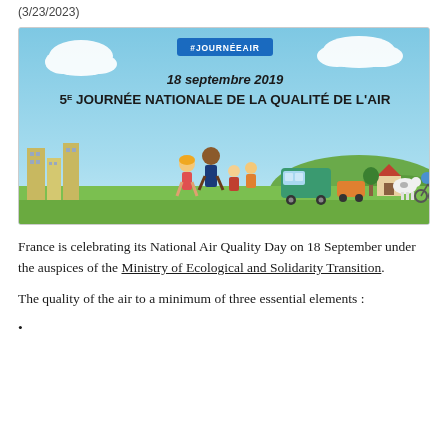(3/23/2023)
[Figure (illustration): Banner image for France's 5th National Air Quality Day on 18 September 2019. Sky blue background with clouds, hashtag #JOURNÉEAIR badge, event date and title text, and illustrated scene at bottom with people, buildings, bus, cow, cyclist, trees.]
France is celebrating its National Air Quality Day on 18 September under the auspices of the Ministry of Ecological and Solidarity Transition.
The quality of the air to a minimum of three essential elements :
• (partial — continues below)